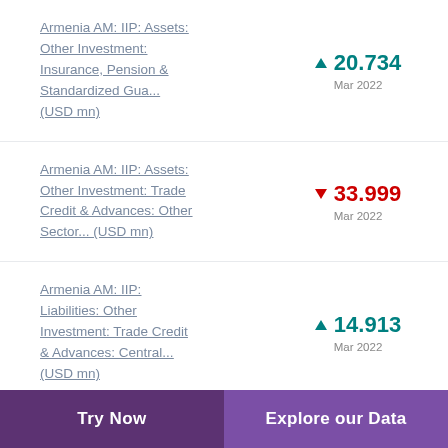Armenia AM: IIP: Assets: Other Investment: Insurance, Pension & Standardized Gua... (USD mn)
Armenia AM: IIP: Assets: Other Investment: Trade Credit & Advances: Other Sector... (USD mn)
Armenia AM: IIP: Liabilities: Other Investment: Trade Credit & Advances: Central... (USD mn)
Try Now | Explore our Data